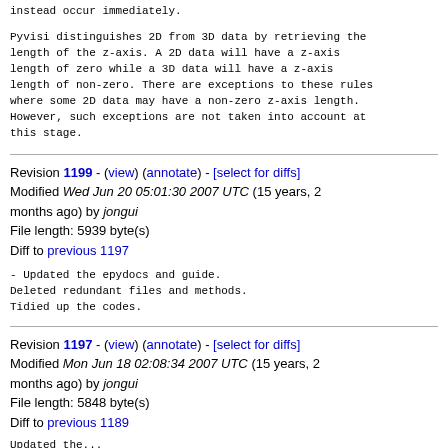instead occur immediately.
Pyvisi distinguishes 2D from 3D data by retrieving the length of the z-axis. A 2D data will have a z-axis length of zero while a 3D data will have a z-axis length of non-zero. There are exceptions to these rules where some 2D data may have a non-zero z-axis length. However, such exceptions are not taken into account at this stage.
Revision 1199 - (view) (annotate) - [select for diffs]
Modified Wed Jun 20 05:01:30 2007 UTC (15 years, 2 months ago) by jongui
File length: 5939 byte(s)
Diff to previous 1197
- Updated the epydocs and guide.
Deleted redundant files and methods.
Tidied up the codes.
Revision 1197 - (view) (annotate) - [select for diffs]
Modified Mon Jun 18 02:08:34 2007 UTC (15 years, 2 months ago) by jongui
File length: 5848 byte(s)
Diff to previous 1189
Updated the...